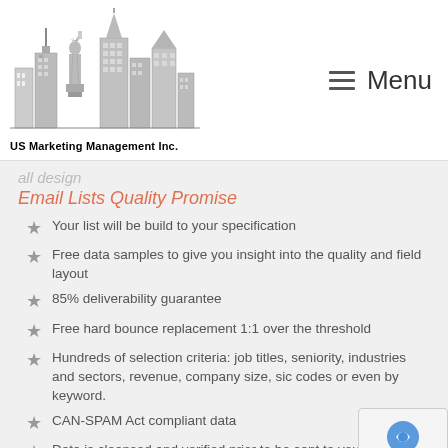[Figure (logo): US Marketing Management Inc. logo with skyline illustration including Statue of Liberty and skyscrapers]
≡ Menu
all design
Email Lists Quality Promise
Your list will be build to your specification
Free data samples to give you insight into the quality and field layout
85% deliverability guarantee
Free hard bounce replacement 1:1 over the threshold
Hundreds of selection criteria: job titles, seniority, industries and sectors, revenue, company size, sic codes or even by keyword.
CAN-SPAM Act compliant data
Data is cleansed and verified prior to be sent to you